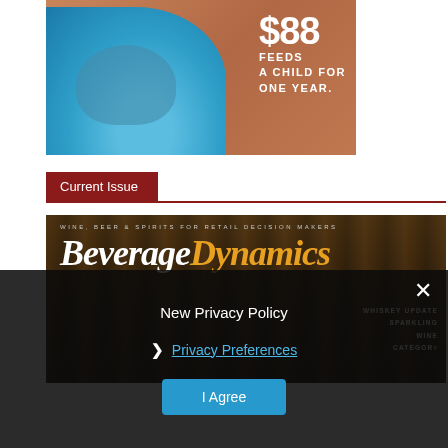[Figure (photo): Advertisement showing a child eating from a bowl with text '$88 FEEDS A CHILD FOR ONE YEAR.']
Current Issue
[Figure (photo): Beverage Dynamics magazine cover showing 'WINE, BEER & SPIRITS FOR RETAIL DECISION MAKERS' with Beverage Dynamics title, two men on cover, and text WHISKEY UPDATE, SPARKLING WINE CATEGORY]
New Privacy Policy
❯ Privacy Preferences
I Agree